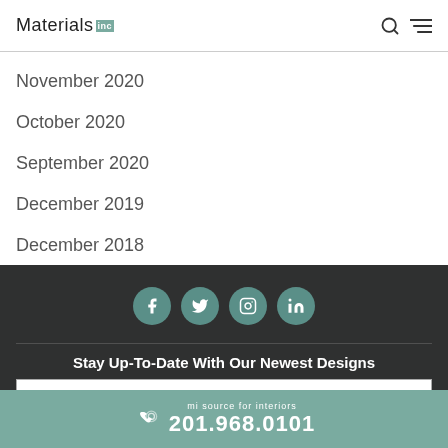Materials Inc
November 2020
October 2020
September 2020
December 2019
December 2018
[Figure (infographic): Dark footer area with four social media circular icon buttons: Facebook, Twitter, Instagram, LinkedIn]
Stay Up-To-Date With Our Newest Designs
* Enter Your Email Address...
mi source for interiors 201.968.0101